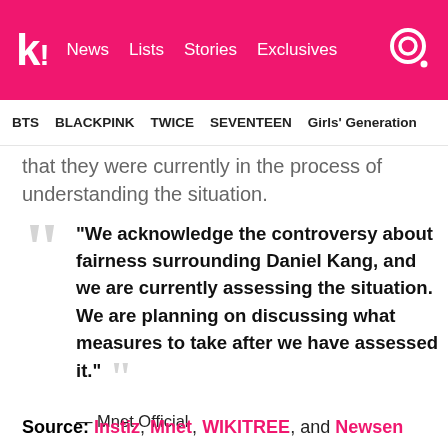k! News Lists Stories Exclusives
BTS  BLACKPINK  TWICE  SEVENTEEN  Girls' Generation
that they were currently in the process of understanding the situation.
“We acknowledge the controversy about fairness surrounding Daniel Kang, and we are currently assessing the situation. We are planning on discussing what measures to take after we have assessed it.” — Mnet Official
Source: Instiz, Mnet, WIKITREE, and Newsen